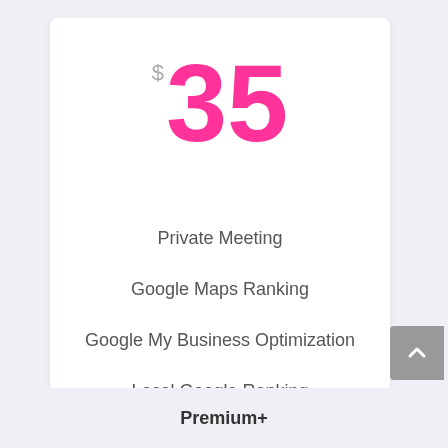$35
Private Meeting
Google Maps Ranking
Google My Business Optimization
Local Google Ranking
Premium+